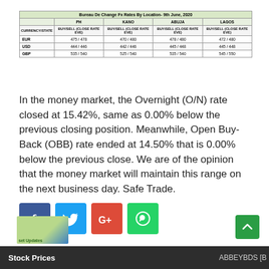| CURRENCY/STATE | PH BUY/SELL (CLOSE RATE EVE) | KANO BUY/SELL (CLOSE RATE EVE) | ABUJA BUY/SELL (CLOSE RATE EVE) | LAGOS BUY/SELL (CLOSE RATE EVE) |
| --- | --- | --- | --- | --- |
| EUR | 475 / 478 | 470 / 480 | 478 / 480 | 472 / 480 |
| USD | 444 / 446 | 442 / 446 | 445 / 448 | 445 / 448 |
| GBP | 535 / 540 | 525 / 540 | 535 / 540 | 545 / 550 |
In the money market, the Overnight (O/N) rate closed at 15.42%, same as 0.00% below the previous closing position. Meanwhile, Open Buy-Back (OBB) rate ended at 14.50% that is 0.00% below the previous close. We are of the opinion that the money market will maintain this range on the next business day. Safe Trade.
[Figure (infographic): Social sharing buttons: Facebook (blue), Twitter (light blue), Google+ (red), WhatsApp (green)]
Stock Prices   ABBEYBDS [B...